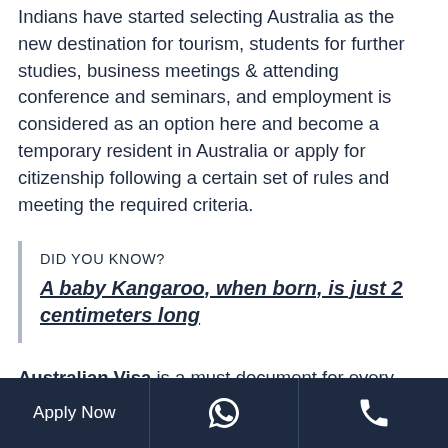Indians have started selecting Australia as the new destination for tourism, students for further studies, business meetings & attending conference and seminars, and employment is considered as an option here and become a temporary resident in Australia or apply for citizenship following a certain set of rules and meeting the required criteria.
DID YOU KNOW?
A baby Kangaroo, when born, is just 2 centimeters long
Australian Visa is a must document for every Indian
Apply Now | [WhatsApp icon] | [Phone icon]